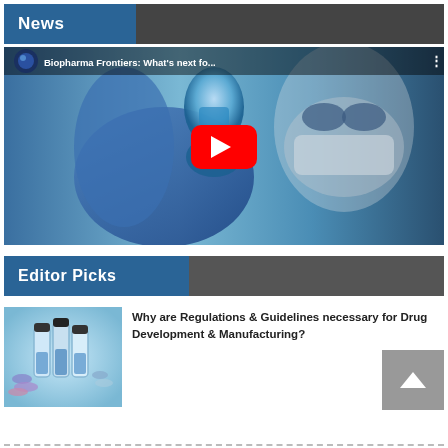News
[Figure (screenshot): YouTube video thumbnail showing a scientist in blue gloves and mask holding a flask, with play button. Title: Biopharma Frontiers: What's next fo...]
Editor Picks
[Figure (photo): Photo of pharmaceutical vials and pills on blue background]
Why are Regulations & Guidelines necessary for Drug Development & Manufacturing?